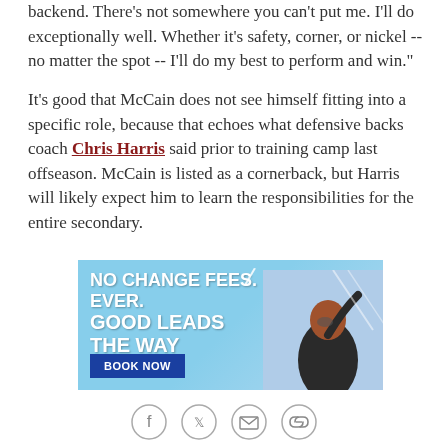backend. There's not somewhere you can't put me. I'll do exceptionally well. Whether it's safety, corner, or nickel -- no matter the spot -- I'll do my best to perform and win."
It's good that McCain does not see himself fitting into a specific role, because that echoes what defensive backs coach Chris Harris said prior to training camp last offseason. McCain is listed as a cornerback, but Harris will likely expect him to learn the responsibilities for the entire secondary.
[Figure (infographic): Advertisement banner: 'NO CHANGE FEES. EVER. GOOD LEADS THE WAY' with BOOK NOW button and a person with raised arm against a blue sky background.]
[Figure (other): Social sharing icons row: Facebook, Twitter, Email, and Link/Chain icon, each in a circle outline.]